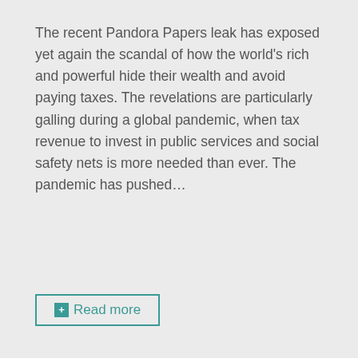The recent Pandora Papers leak has exposed yet again the scandal of how the world's rich and powerful hide their wealth and avoid paying taxes. The revelations are particularly galling during a global pandemic, when tax revenue to invest in public services and social safety nets is more needed than ever. The pandemic has pushed…
+ Read more
May 2021
BLOG